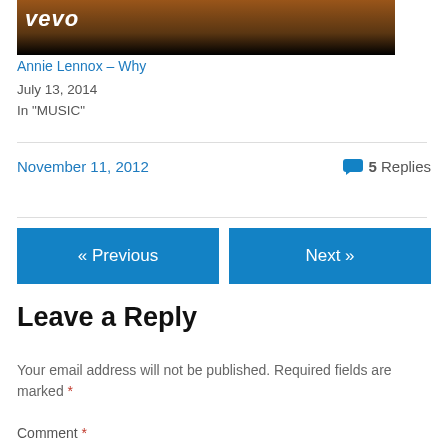[Figure (photo): Partial screenshot of a music video thumbnail with vevo logo visible and dark/brown gradient background, top portion cropped]
Annie Lennox – Why
July 13, 2014
In "MUSIC"
November 11, 2012
5 Replies
« Previous
Next »
Leave a Reply
Your email address will not be published. Required fields are marked *
Comment *